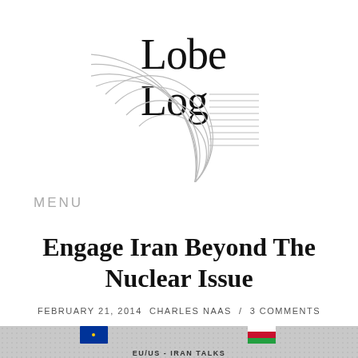[Figure (logo): LobLog logo: serif text 'Lobe Log' with decorative concentric arcs on the lower left and horizontal lines on the right]
MENU
Engage Iran Beyond The Nuclear Issue
FEBRUARY 21, 2014  CHARLES NAAS  /  3 COMMENTS
[Figure (photo): Partial photo showing EU/US-Iran Talks, with flags (blue EU flag and green Saudi/Iranian flag) against a grey dotted background, with text partially visible at bottom reading 'EU/US - IRAN TALKS']